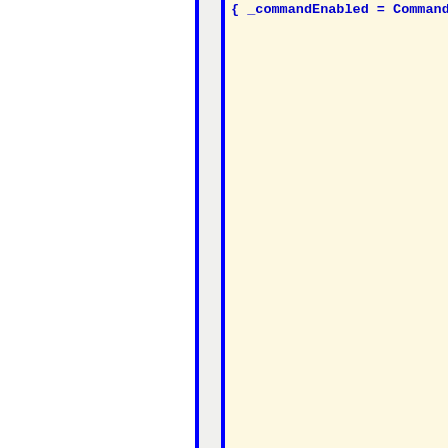[Figure (screenshot): Code snippet showing C# RelayCommand class with Thread and CanExecuteChanged logic on a light yellow background, with white left panel and blue vertical borders]